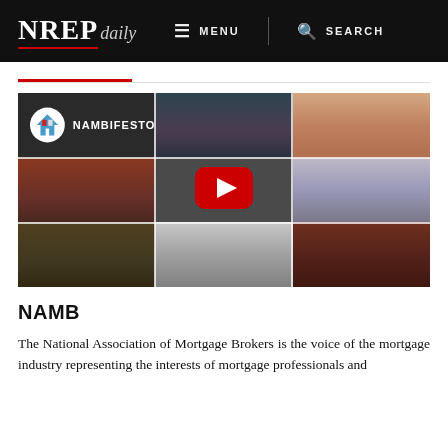NREP daily  MENU  SEARCH
[Figure (screenshot): Video thumbnail showing a 3x3 grid of diverse people's faces with NAMBIFESTO logo in top-left cell and YouTube play button overlay in center]
NAMB
The National Association of Mortgage Brokers is the voice of the mortgage industry representing the interests of mortgage professionals and